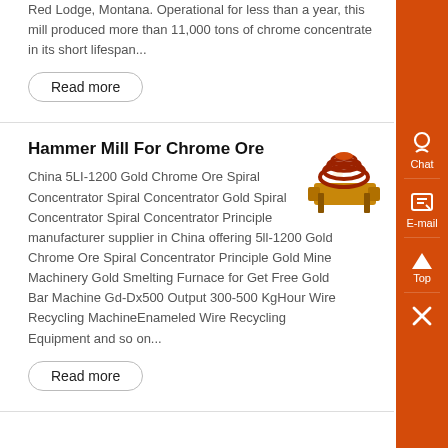Red Lodge, Montana. Operational for less than a year, this mill produced more than 11,000 tons of chrome concentrate in its short lifespan...
Read more
Hammer Mill For Chrome Ore
China 5LI-1200 Gold Chrome Ore Spiral Concentrator Spiral Concentrator Gold Spiral Concentrator Spiral Concentrator Principle manufacturer supplier in China offering 5ll-1200 Gold Chrome Ore Spiral Concentrator Principle Gold Mine Machinery Gold Smelting Furnace for Get Free Gold Bar Machine Gd-Dx500 Output 300-500 KgHour Wire Recycling MachineEnameled Wire Recycling Equipment and so on...
[Figure (photo): Industrial spiral concentrator machine, orange/gold colored with red spiral elements]
Read more